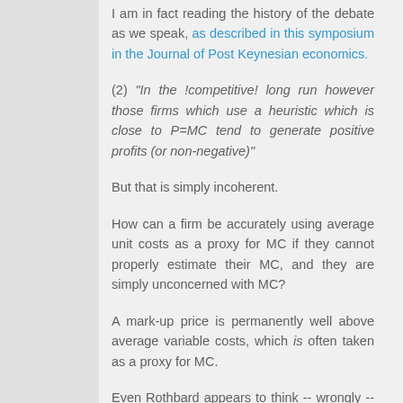I am in fact reading the history of the debate as we speak, as described in this symposium in the Journal of Post Keynesian economics.
(2) "In the !competitive! long run however those firms which use a heuristic which is close to P=MC tend to generate positive profits (or non-negative)"
But that is simply incoherent.
How can a firm be accurately using average unit costs as a proxy for MC if they cannot properly estimate their MC, and they are simply unconcerned with MC?
A mark-up price is permanently well above average variable costs, which is often taken as a proxy for MC.
Even Rothbard appears to think -- wrongly -- that real world markets have a tendency for prices/marginal revenue to tend towards marginal